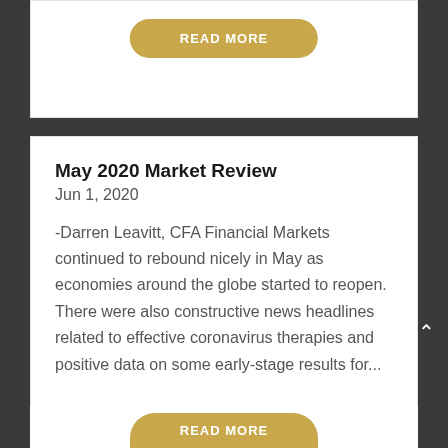[Figure (other): Top card with a gold 'READ MORE' button on white background, partially visible at top of page]
May 2020 Market Review
Jun 1, 2020
-Darren Leavitt, CFA Financial Markets continued to rebound nicely in May as economies around the globe started to reopen.  There were also constructive news headlines related to effective coronavirus therapies and positive data on some early-stage results for...